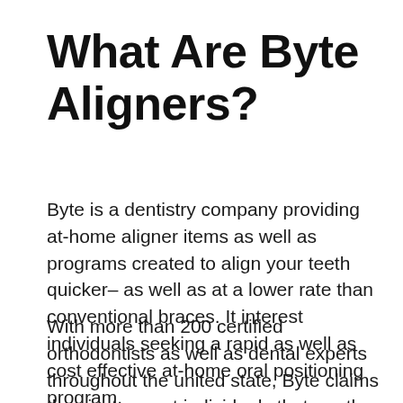What Are Byte Aligners?
Byte is a dentistry company providing at-home aligner items as well as programs created to align your teeth quicker– as well as at a lower rate than conventional braces. It interest individuals seeking a rapid as well as cost effective at-home oral positioning program.
With more than 200 certified orthodontists as well as dental experts throughout the united state, Byte claims they just accept individuals that are the appropriate candidates for teledentistry– which generally